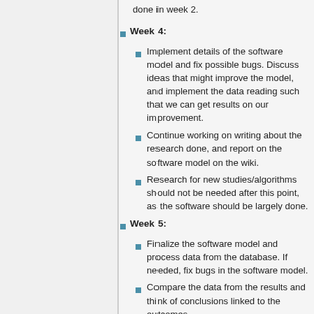done in week 2.
Week 4:
Implement details of the software model and fix possible bugs. Discuss ideas that might improve the model, and implement the data reading such that we can get results on our improvement.
Continue working on writing about the research done, and report on the software model on the wiki.
Research for new studies/algorithms should not be needed after this point, as the software should be largely done.
Week 5:
Finalize the software model and process data from the database. If needed, fix bugs in the software model.
Compare the data from the results and think of conclusions linked to the outcomes.
Collectively look for reasons why the data behaves like how it is found.
Week 6: